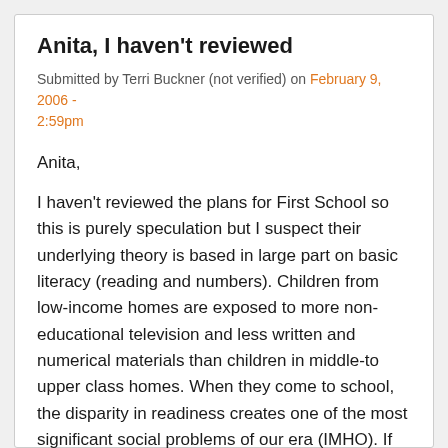Anita, I haven't reviewed
Submitted by Terri Buckner (not verified) on February 9, 2006 - 2:59pm
Anita,
I haven't reviewed the plans for First School so this is purely speculation but I suspect their underlying theory is based in large part on basic literacy (reading and numbers). Children from low-income homes are exposed to more non-educational television and less written and numerical materials than children in middle-to upper class homes. When they come to school, the disparity in readiness creates one of the most significant social problems of our era (IMHO). If we want children to have equal opportunity regardless of race or SES, then we need to get them into the 'system' earlier and make sure they have middle-class opportunities at a young age. Pardon the bluntness. I see both sides of this issue, but I have many many questions and I stand by those that I posted yesterday.
This is a school board issue, are they going to review this